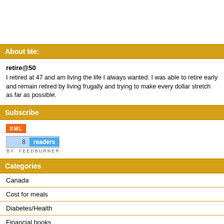About Me:
retire@50
I retired at 47 and am living the life I always wanted. I was able to retire early and remain retired by living frugally and trying to make every dollar stretch as far as possible.
Subscribe
[Figure (other): XML feed button and FeedBurner widget showing 8 readers]
Categories
Canada
Cost for meals
Diabetes/Health
Financial books
Free Stuff
Goals